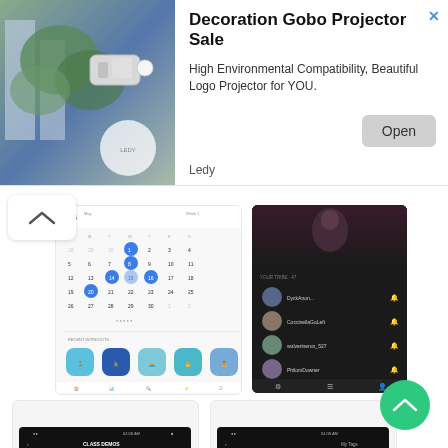[Figure (screenshot): Advertisement banner for Decoration Gobo Projector Sale by Ledy with product image, Open button, and close icon]
Decoration Gobo Projector Sale
High Environmental Compatibility, Beautiful Logo Projector for YOU.
Ledy
[Figure (screenshot): App screenshot showing a calendar interface with dates highlighted in blue]
[Figure (screenshot): App screenshot showing a dark-themed list of users with profile photos]
PRELOAD FITNESS CLASSES AND WORK OUT FROM ANYWHERE
[Figure (screenshot): App screenshot showing fitness class preload screen with a workout video and class details]
EXPRESS YOURSELF AND CONNECT WITH TAGS
[Figure (screenshot): App screenshot showing #PowerZonePack tag screen with list of followers and follow buttons]